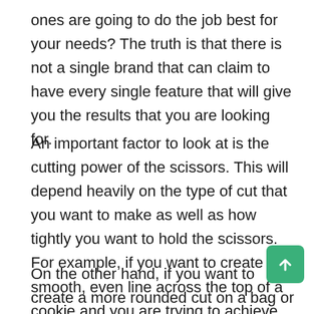ones are going to do the job best for your needs? The truth is that there is not a single brand that can claim to have every single feature that will give you the results that you are looking for.
An important factor to look at is the cutting power of the scissors. This will depend heavily on the type of cut that you want to make as well as how tightly you want to hold the scissors. For example, if you want to create a smooth, even line across the top of a cookie and you are trying to achieve this by using a pair of blunt scissors, you will need scissors that have a stronger cutting power.
On the other hand, if you want to create a more rounded cut on a bag or cake then you will want to go with y scissors. When buying scissors that claim to be sharp, make sure that they have been properly sharpened. The